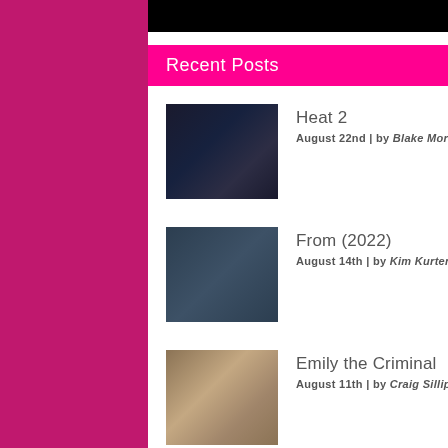[Figure (photo): Dark hero image banner at top]
Recent Posts
Heat 2 — August 22nd | by Blake Morrow
From (2022) — August 14th | by Kim Kurtenbach
Emily the Criminal — August 11th | by Craig Silliphant
Prey — August 8th | by Craig Silliphant